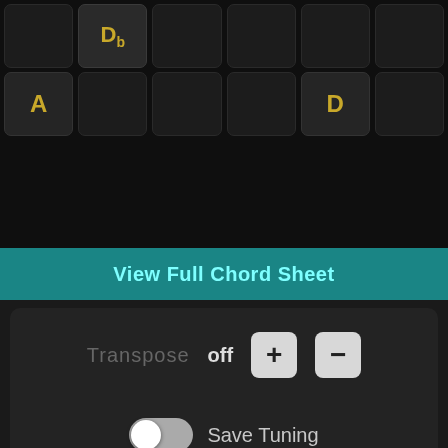[Figure (screenshot): Music app interface showing a chord grid with Db and A and D notes highlighted, a teal 'View Full Chord Sheet' button, a Transpose control set to off with + and - buttons, a Save Tuning toggle switch, a 'Use Flats or Sharps?' option, a bottom keyboard row, and a Start Jamming footer bar.]
Db
A
D
View Full Chord Sheet
Transpose  off
+
−
Save Tuning
Use Flats or Sharps ?
Start Jamming...